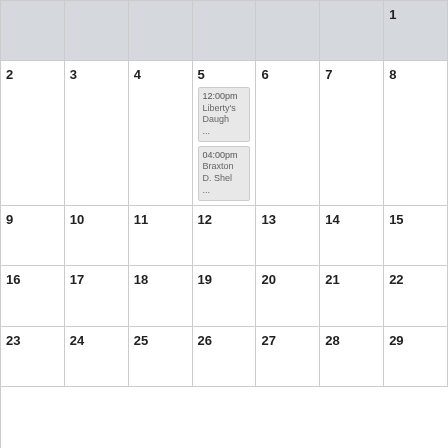| Sun | Mon | Tue | Wed | Thu | Fri | Sat |
| --- | --- | --- | --- | --- | --- | --- |
| (gray) | (gray) | (gray) | (gray) | (gray) | (gray) | 1(gray) |
| 2 | 3 | 4 | 5 [12:00pm Liberty's Daugh ... / 04:00pm Braxton D. Shel ...] | 6 | 7 | 8 |
| 9 | 10 | 11 | 12 | 13 | 14 | 15 |
| 16 | 17 | 18 | 19 | 20 | 21 | 22 |
| 23 | 24 | 25 | 26 | 27 | 28 | 29 |